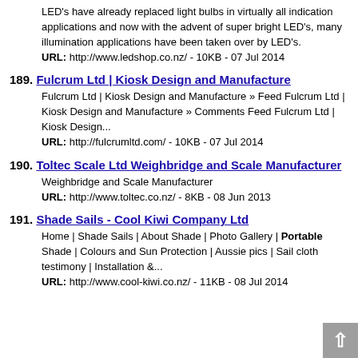LED's have already replaced light bulbs in virtually all indication applications and now with the advent of super bright LED's, many illumination applications have been taken over by LED's.
URL: http://www.ledshop.co.nz/ - 10KB - 07 Jul 2014
189. Fulcrum Ltd | Kiosk Design and Manufacture
Fulcrum Ltd | Kiosk Design and Manufacture » Feed Fulcrum Ltd | Kiosk Design and Manufacture » Comments Feed Fulcrum Ltd | Kiosk Design...
URL: http://fulcrumltd.com/ - 10KB - 07 Jul 2014
190. Toltec Scale Ltd Weighbridge and Scale Manufacturer
Weighbridge and Scale Manufacturer
URL: http://www.toltec.co.nz/ - 8KB - 08 Jun 2013
191. Shade Sails - Cool Kiwi Company Ltd
Home | Shade Sails | About Shade | Photo Gallery | Portable Shade | Colours and Sun Protection | Aussie pics | Sail cloth testimony | Installation &...
URL: http://www.cool-kiwi.co.nz/ - 11KB - 08 Jul 2014